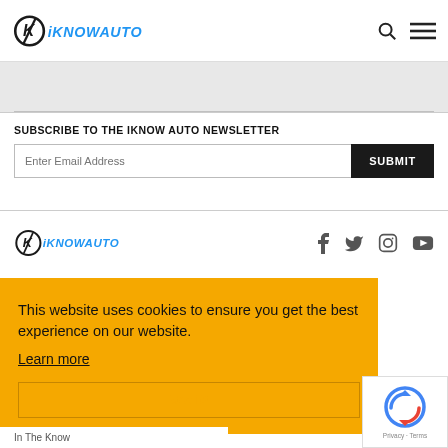iKNOWAUTO - header with logo, search icon, and menu icon
SUBSCRIBE TO THE IKNOW AUTO NEWSLETTER
Enter Email Address [input field] SUBMIT [button]
[Figure (logo): iKNOWAUTO footer logo]
Social media icons: Facebook, Twitter, Instagram, YouTube
This website uses cookies to ensure you get the best experience on our website. Learn more Got it!
[Figure (other): reCAPTCHA widget with circular arrows icon and Privacy - Terms text]
In The Know